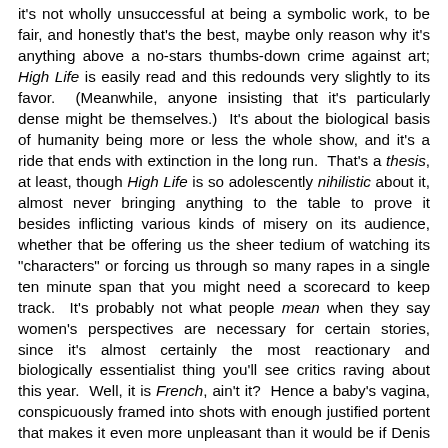it's not wholly unsuccessful at being a symbolic work, to be fair, and honestly that's the best, maybe only reason why it's anything above a no-stars thumbs-down crime against art; High Life is easily read and this redounds very slightly to its favor.  (Meanwhile, anyone insisting that it's particularly dense might be themselves.)  It's about the biological basis of humanity being more or less the whole show, and it's a ride that ends with extinction in the long run.  That's a thesis, at least, though High Life is so adolescently nihilistic about it, almost never bringing anything to the table to prove it besides inflicting various kinds of misery on its audience, whether that be offering us the sheer tedium of watching its "characters" or forcing us through so many rapes in a single ten minute span that you might need a scorecard to keep track.  It's probably not what people mean when they say women's perspectives are necessary for certain stories, since it's almost certainly the most reactionary and biologically essentialist thing you'll see critics raving about this year.  Well, it is French, ain't it?  Hence a baby's vagina, conspicuously framed into shots with enough justified portent that makes it even more unpleasant than it would be if Denis were just tweaking us squares.  Not French enough for us?  To see that first scene of a vagina, there are at least